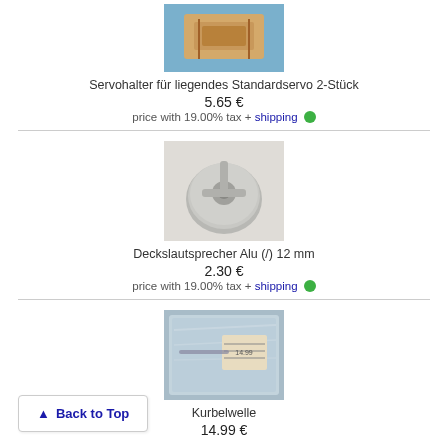[Figure (photo): Product photo of Servohalter für liegendes Standardservo 2-Stück, wooden bracket component on blue background]
Servohalter für liegendes Standardservo 2-Stück
5.65 €
price with 19.00% tax + shipping ●
[Figure (photo): Product photo of Deckslautsprecher Alu (/) 12 mm, silver metal disc speaker on white background]
Deckslautsprecher Alu (/) 12 mm
2.30 €
price with 19.00% tax + shipping ●
[Figure (photo): Product photo of Kurbelwelle, metal part in plastic packaging with label]
Kurbelwelle
14.99 €
Back to Top